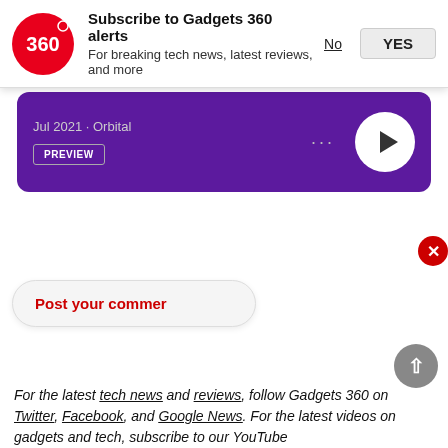[Figure (screenshot): Gadgets 360 notification subscription banner with red circular logo showing '360', bold text 'Subscribe to Gadgets 360 alerts', subtitle 'For breaking tech news, latest reviews, and more', and buttons 'No' and 'YES']
[Figure (screenshot): Purple podcast player bar showing 'Jul 2021 · Orbital', a PREVIEW button, three dots menu, and a white circular play button]
[Figure (screenshot): Red 'Post your comment' button area partially overlapped by a black video player with a red play button and a close (X) button]
For the latest tech news and reviews, follow Gadgets 360 on Twitter, Facebook, and Google News. For the latest videos on gadgets and tech, subscribe to our YouTube